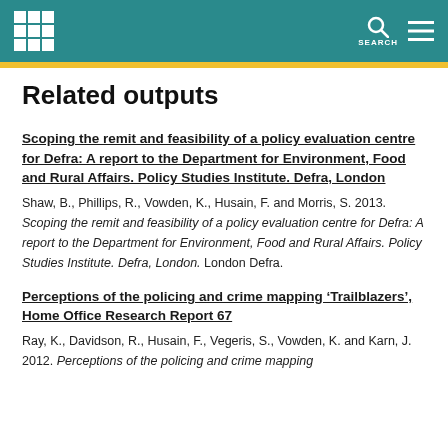Related outputs
Related outputs
Scoping the remit and feasibility of a policy evaluation centre for Defra: A report to the Department for Environment, Food and Rural Affairs. Policy Studies Institute. Defra, London
Shaw, B., Phillips, R., Vowden, K., Husain, F. and Morris, S. 2013. Scoping the remit and feasibility of a policy evaluation centre for Defra: A report to the Department for Environment, Food and Rural Affairs. Policy Studies Institute. Defra, London. London Defra.
Perceptions of the policing and crime mapping ‘Trailblazers’, Home Office Research Report 67
Ray, K., Davidson, R., Husain, F., Vegeris, S., Vowden, K. and Karn, J. 2012. Perceptions of the policing and crime mapping